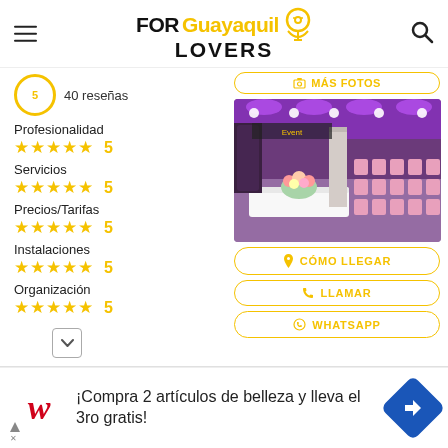FOR Guayaquil LOVERS
40 reseñas
Profesionalidad ★★★★★ 5
Servicios ★★★★★ 5
Precios/Tarifas ★★★★★ 5
Instalaciones ★★★★★ 5
Organización ★★★★★ 5
[Figure (photo): Indoor event venue with pink chairs arranged in rows, decorated with purple lighting and floral centerpieces on white tables]
MÁS FOTOS
CÓMO LLEGAR
LLAMAR
WHATSAPP
¡Compra 2 artículos de belleza y lleva el 3ro gratis!